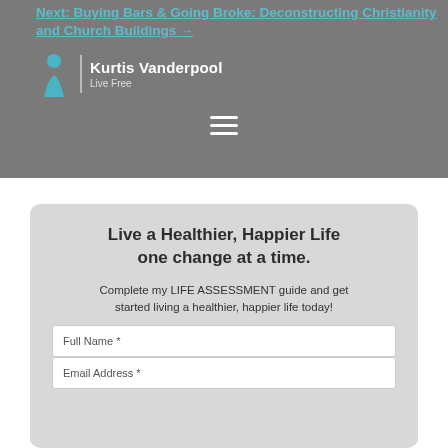Next: Buying Bars & Going Broke: Deconstructing Christianity and Church Buildings →
[Figure (logo): Kurtis Vanderpool Live Free logo with teal figure icon and vertical divider]
[Figure (infographic): Hamburger menu icon (three horizontal lines)]
Live a Healthier, Happier Life one change at a time.
Complete my LIFE ASSESSMENT guide and get started living a healthier, happier life today!
Full Name *
Email Address *